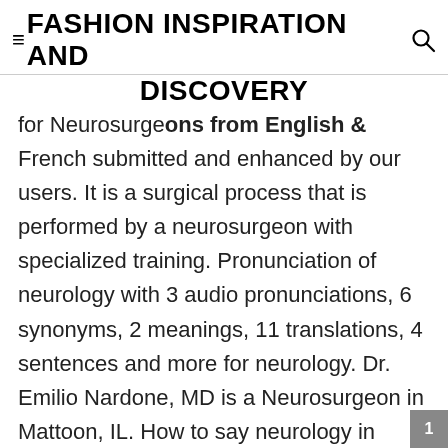≡FASHION INSPIRATION AND DISCOVERY
for Neurosurgeons from English & French submitted and enhanced by our users. It is a surgical process that is performed by a neurosurgeon with specialized training. Pronunciation of neurology with 3 audio pronunciations, 6 synonyms, 2 meanings, 11 translations, 4 sentences and more for neurology. Dr. Emilio Nardone, MD is a Neurosurgeon in Mattoon, IL. How to say neurology in English? Neurosurgeons job description also includes treatments to patients suffering from cancerous cells, benign brain